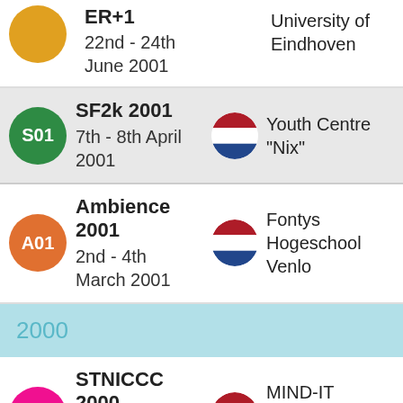ER+1 22nd - 24th June 2001, University of Eindhoven
SF2k 2001, 7th - 8th April 2001, Netherlands, Youth Centre "Nix"
Ambience 2001, 2nd - 4th March 2001, Netherlands, Fontys Hogeschool Venlo
2000
STNICCC 2000, 15th - 17th December, Netherlands, MIND-IT trainingscenter Sassenheim